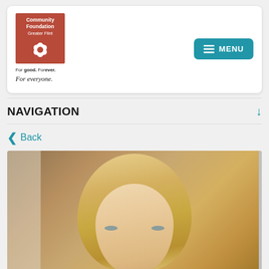[Figure (logo): Community Foundation Greater Flint logo — red/terracotta square with white text and stylized flower/tulip icon, with tagline 'For good. Forever. For everyone.' below]
[Figure (screenshot): Teal/blue MENU button with hamburger icon]
NAVIGATION
< Back
[Figure (photo): Portrait photo of a blonde woman looking at camera, indoor background]